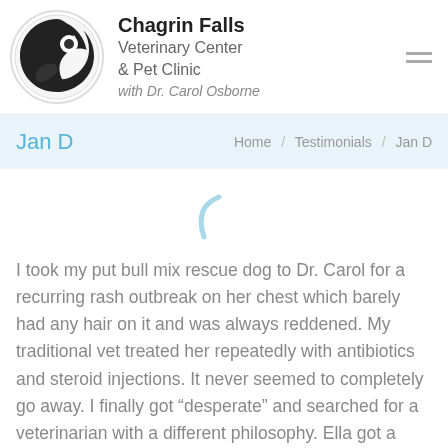Chagrin Falls Veterinary Center & Pet Clinic with Dr. Carol Osborne
Jan D
Home / Testimonials / Jan D
[Figure (illustration): Decorative quotation mark arc in light blue]
I took my put bull mix rescue dog to Dr. Carol for a recurring rash outbreak on her chest which barely had any hair on it and was always reddened. My traditional vet treated her repeatedly with antibiotics and steroid injections. It never seemed to completely go away. I finally got “desperate” and searched for a veterinarian with a different philosophy. Ella got a thorough and unhurried examination by Dr Carol and one of the first questions she asked me was “What are you